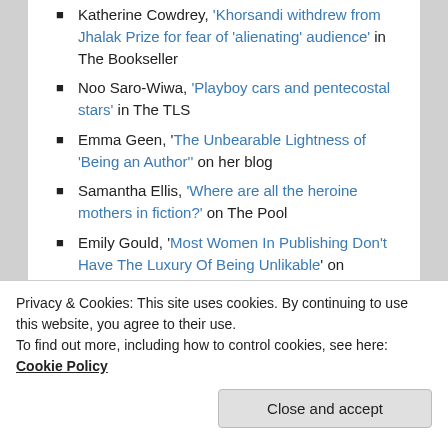Katherine Cowdrey, 'Khorsandi withdrew from Jhalak Prize for fear of 'alienating' audience' in The Bookseller
Noo Saro-Wiwa, 'Playboy cars and pentecostal stars' in The TLS
Emma Geen, 'The Unbearable Lightness of 'Being an Author'' on her blog
Samantha Ellis, 'Where are all the heroine mothers in fiction?' on The Pool
Emily Gould, 'Most Women In Publishing Don't Have The Luxury Of Being Unlikable' on Buzzfeed
[Figure (screenshot): GET THE APP banner with WordPress logo icon]
Privacy & Cookies: This site uses cookies. By continuing to use this website, you agree to their use. To find out more, including how to control cookies, see here: Cookie Policy
Close and accept